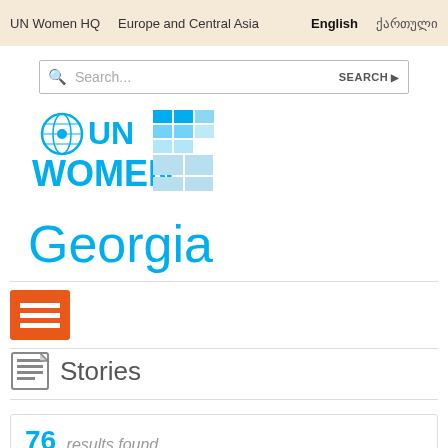UN Women HQ   Europe and Central Asia   English   ქართული
[Figure (other): Search bar with magnifying glass icon, placeholder text 'Search...' and SEARCH button]
[Figure (logo): UN Women logo in blue with globe icon and grid pattern]
Georgia
[Figure (other): Orange menu/hamburger icon (three horizontal lines on orange background)]
Stories
76 results found